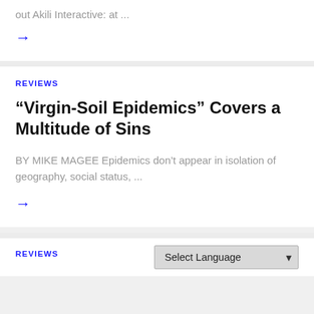out Akili Interactive: at ...
→
REVIEWS
“Virgin-Soil Epidemics” Covers a Multitude of Sins
BY MIKE MAGEE Epidemics don’t appear in isolation of geography, social status, ...
→
REVIEWS
Select Language